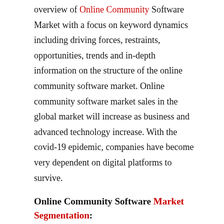overview of Online Community Software Market with a focus on keyword dynamics including driving forces, restraints, opportunities, trends and in-depth information on the structure of the online community software market. Online community software market sales in the global market will increase as business and advanced technology increase. With the covid-19 epidemic, companies have become very dependent on digital platforms to survive.
Online Community Software Market Segmentation:
Online Community Software Market, By Application (2016-2027)
Small and medium enterprises
Large companies